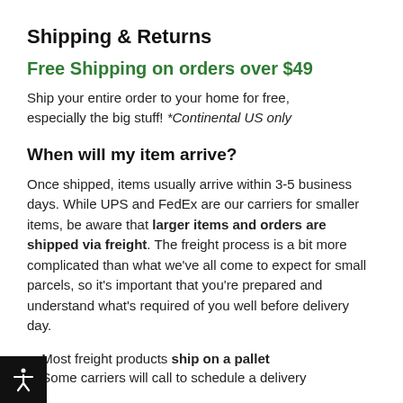Shipping & Returns
Free Shipping on orders over $49
Ship your entire order to your home for free, especially the big stuff! *Continental US only
When will my item arrive?
Once shipped, items usually arrive within 3-5 business days. While UPS and FedEx are our carriers for smaller items, be aware that larger items and orders are shipped via freight. The freight process is a bit more complicated than what we've all come to expect for small parcels, so it's important that you're prepared and understand what's required of you well before delivery day.
Most freight products ship on a pallet Some carriers will call to schedule a delivery